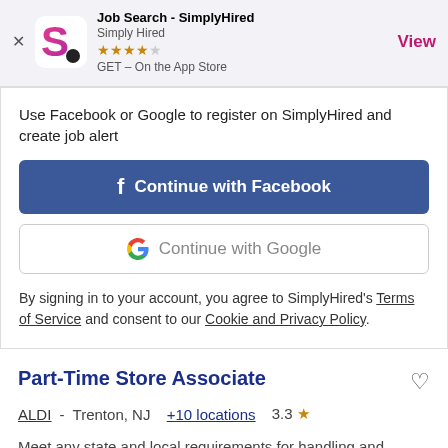[Figure (screenshot): SimplyHired app store banner with logo, star rating, and View link]
Use Facebook or Google to register on SimplyHired and create job alert
[Figure (other): Continue with Facebook button (blue)]
[Figure (other): Continue with Google button (white with border)]
By signing in to your account, you agree to SimplyHired's Terms of Service and consent to our Cookie and Privacy Policy.
Part-Time Store Associate
ALDI - Trenton, NJ +10 locations 3.3 ★
Meet any state and local requirements for handling and selling alcoholic beverages. Adheres to cash policies and procedures to minimize losses.
$17 an hour